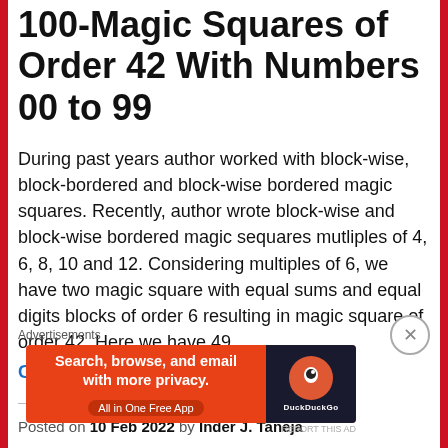100-Magic Squares of Order 42 With Numbers 00 to 99
During past years author worked with block-wise, block-bordered and block-wise bordered magic squares. Recently, author wrote block-wise and block-wise bordered magic sequares mutliples of 4, 6, 8, 10 and 12. Considering multiples of 6, we have two magic square with equal sums and equal digits blocks of order 6 resulting in magic square of order 42. Here we have 49 …
Continue reading
Posted on 10 Feb 2022 by Inder J. Taneja
Advertisements
[Figure (other): DuckDuckGo advertisement banner: Search, browse, and email with more privacy. All in One Free App]